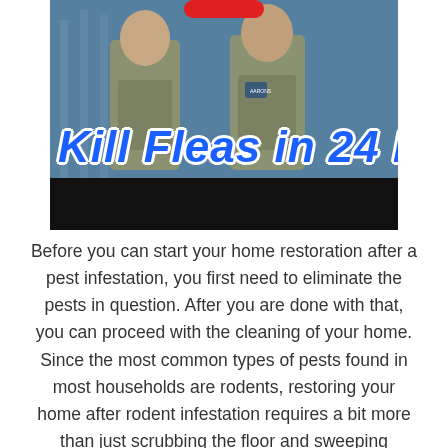[Figure (photo): Photo of pest control workers in uniform with blue overlay and bold text reading 'Kill Fleas in 24 H' (partially cropped) in blue with white outline on a dark bottom bar]
Before you can start your home restoration after a pest infestation, you first need to eliminate the pests in question. After you are done with that, you can proceed with the cleaning of your home. Since the most common types of pests found in most households are rodents, restoring your home after rodent infestation requires a bit more than just scrubbing the floor and sweeping afterwards.